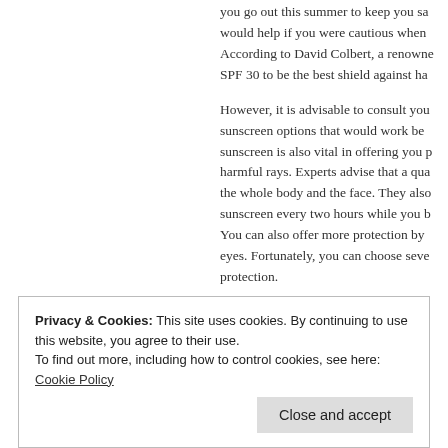you go out this summer to keep you sa... would help if you were cautious when... According to David Colbert, a renowne... SPF 30 to be the best shield against ha...
However, it is advisable to consult you... sunscreen options that would work be... sunscreen is also vital in offering you p... harmful rays. Experts advise that a qua... the whole body and the face. They also... sunscreen every two hours while you b... You can also offer more protection by... eyes. Fortunately, you can choose seve... protection.
3. Get your rest
The longer summer days makes the se...
Privacy & Cookies: This site uses cookies. By continuing to use this website, you agree to their use.
To find out more, including how to control cookies, see here: Cookie Policy